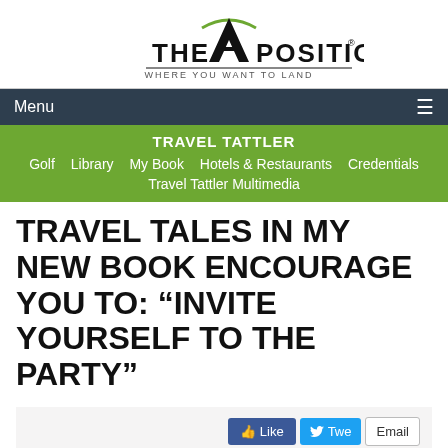[Figure (logo): The A Position logo with mountain/checkmark A graphic and tagline WHERE YOU WANT TO LAND]
Menu ☰
TRAVEL TATTLER
Golf  Library  My Book  Hotels & Restaurants  Credentials  Travel Tattler Multimedia
TRAVEL TALES IN MY NEW BOOK ENCOURAGE YOU TO: “INVITE YOURSELF TO THE PARTY”
[Figure (infographic): Social share buttons: Like, Tweet, Email]
[Figure (photo): Partially visible photo at bottom left]
Travel adventures can be